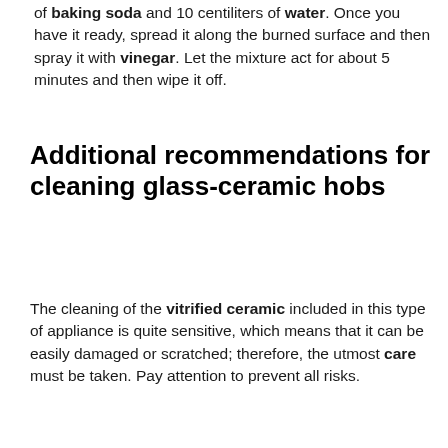of baking soda and 10 centiliters of water. Once you have it ready, spread it along the burned surface and then spray it with vinegar. Let the mixture act for about 5 minutes and then wipe it off.
Additional recommendations for cleaning glass-ceramic hobs
The cleaning of the vitrified ceramic included in this type of appliance is quite sensitive, which means that it can be easily damaged or scratched; therefore, the utmost care must be taken. Pay attention to prevent all risks.